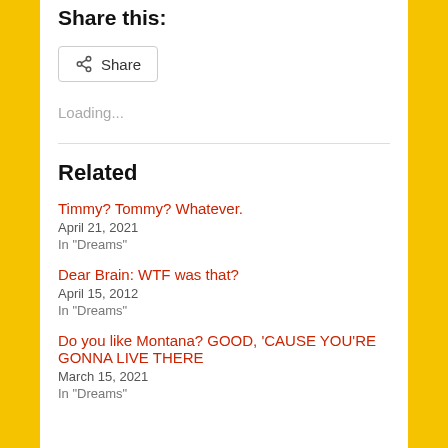Share this:
[Figure (other): Share button with share icon]
Loading...
Related
Timmy? Tommy? Whatever.
April 21, 2021
In "Dreams"
Dear Brain: WTF was that?
April 15, 2012
In "Dreams"
Do you like Montana? GOOD, 'CAUSE YOU'RE GONNA LIVE THERE
March 15, 2021
In "Dreams"